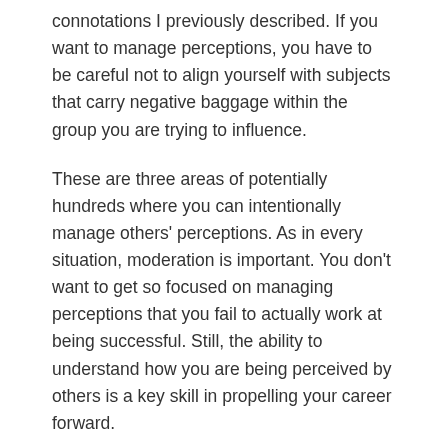connotations I previously described. If you want to manage perceptions, you have to be careful not to align yourself with subjects that carry negative baggage within the group you are trying to influence.
These are three areas of potentially hundreds where you can intentionally manage others' perceptions. As in every situation, moderation is important. You don't want to get so focused on managing perceptions that you fail to actually work at being successful. Still, the ability to understand how you are being perceived by others is a key skill in propelling your career forward.
Filed Under: Misc